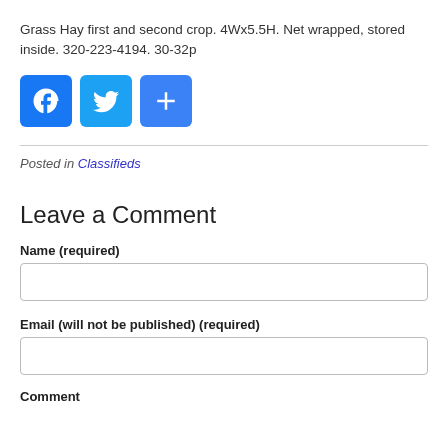Grass Hay first and second crop. 4Wx5.5H. Net wrapped, stored inside. 320-223-4194. 30-32p
[Figure (other): Social sharing buttons: Facebook (blue), Twitter (light blue), and a blue plus/share button]
Posted in Classifieds
Leave a Comment
Name (required)
Email (will not be published) (required)
Comment